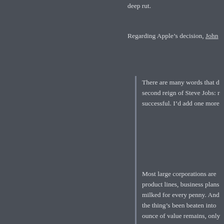deep rut.
Regarding Apple’s decision, John
There are many words that describe the second reign of Steve Jobs: n successful. I’d add one more
Most large corporations are product lines, business plans milked for every penny. And the thing’s been beaten into ounce of value remains, only reluctantly move on.
I agree, but with a subtle differen fearless, but rather that he’s afra CEOs can’t bring themselves to c bring himself to keep doing the s